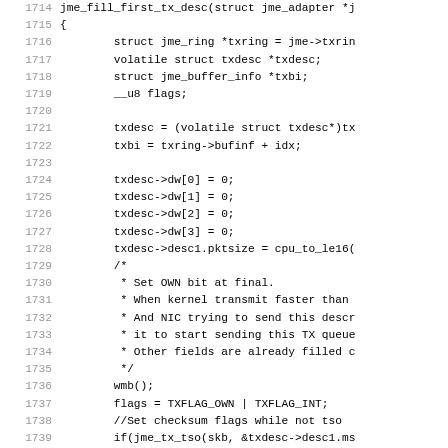[Figure (screenshot): Source code listing in monospace font showing C code for jme_fill_first_tx_desc function, lines 1714-1746, with line numbers in gray on the left and code in black on the right. The code includes variable declarations, txdesc field assignments, a comment block about OWN bit, wmb() call, flags assignment, checksum and TSO handling, and vlan handling.]